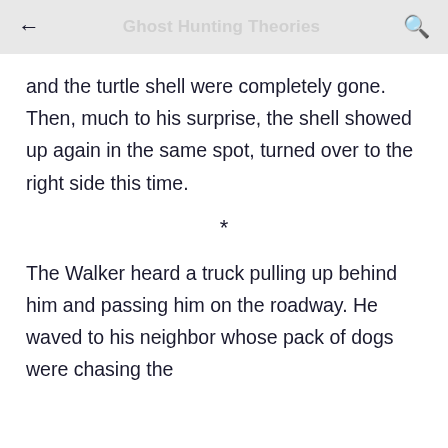← Ghost Hunting Theories 🔍
and the turtle shell were completely gone. Then, much to his surprise, the shell showed up again in the same spot, turned over to the right side this time.
*
The Walker heard a truck pulling up behind him and passing him on the roadway. He waved to his neighbor whose pack of dogs were chasing the